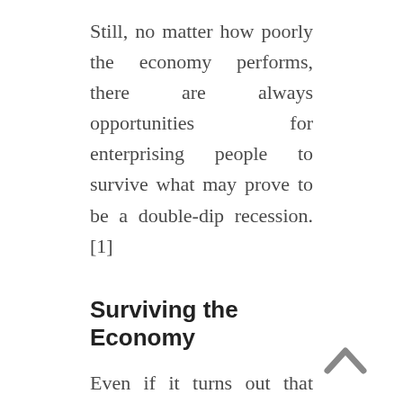Still, no matter how poorly the economy performs, there are always opportunities for enterprising people to survive what may prove to be a double-dip recession. [1]
Surviving the Economy
Even if it turns out that we’ve hit an economic speed bump, amounting to a temporary stall in the economy, the challenges are similar. Let’s take a look at some ways you can survive, perhaps thrive in a recession.
Psychology – Consumers are often spooked by bad news and react